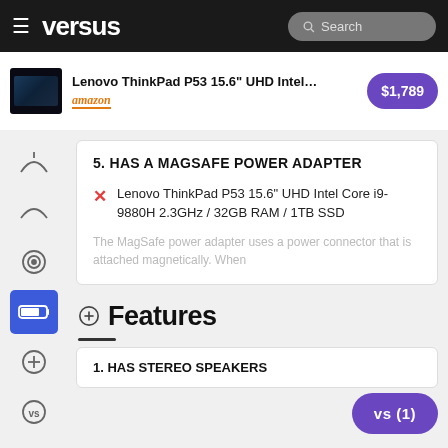versus — Search
[Figure (screenshot): Ad banner for Lenovo ThinkPad P53 15.6" UHD Intel... on Amazon, price $1,789]
5. HAS A MAGSAFE POWER ADAPTER
Lenovo ThinkPad P53 15.6" UHD Intel Core i9-9880H 2.3GHz / 32GB RAM / 1TB SSD
The MagSafe power adapter uses a power connector that is attached magnetically. When
Features
1. HAS STEREO SPEAKERS